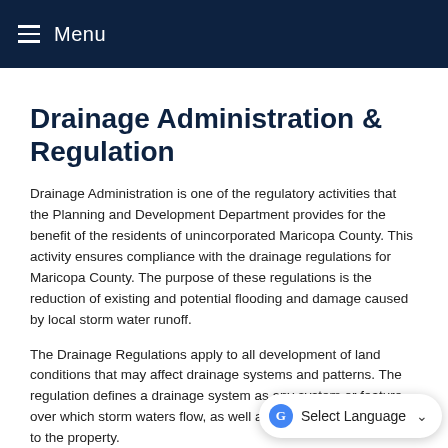Menu
Drainage Administration & Regulation
Drainage Administration is one of the regulatory activities that the Planning and Development Department provides for the benefit of the residents of unincorporated Maricopa County. This activity ensures compliance with the drainage regulations for Maricopa County. The purpose of these regulations is the reduction of existing and potential flooding and damage caused by local storm water runoff.
The Drainage Regulations apply to all development of land conditions that may affect drainage systems and patterns. The regulation defines a drainage system as any system or feature over which storm waters flow, as well as any man made change to the property.